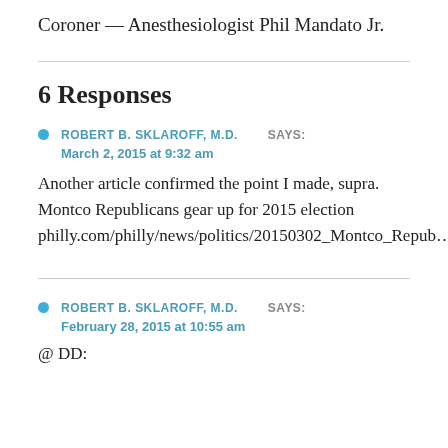Coroner — Anesthesiologist Phil Mandato Jr.
6 Responses
ROBERT B. SKLAROFF, M.D.   SAYS:
March 2, 2015 at 9:32 am
Another article confirmed the point I made, supra. Montco Republicans gear up for 2015 election philly.com/philly/news/politics/20150302_Montco_Repub...
ROBERT B. SKLAROFF, M.D.   SAYS:
February 28, 2015 at 10:55 am
@ DD: